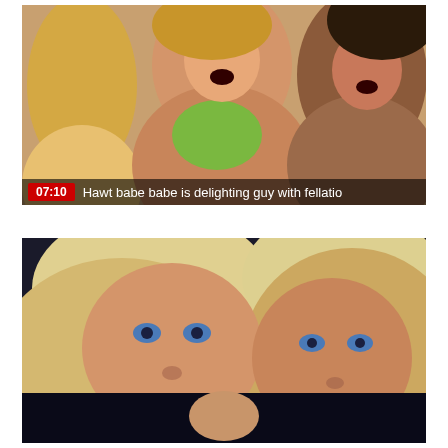[Figure (photo): Video thumbnail showing two women laughing, one in green bikini top, with overlay bar showing duration 07:10 and title 'Hawt babe babe is delighting guy with fellatio']
07:10  Hawt babe babe is delighting guy with fellatio
[Figure (photo): Video thumbnail showing two blonde women with blue eyes in a close-up shot]